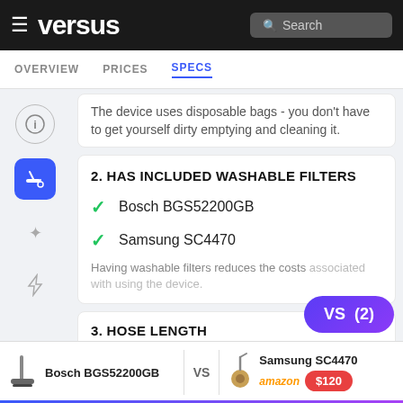versus — Search bar — OVERVIEW | PRICES | SPECS
The device uses disposable bags - you don't have to get yourself dirty emptying and cleaning it.
2. HAS INCLUDED WASHABLE FILTERS
✓ Bosch BGS52200GB
✓ Samsung SC4470
Having washable filters reduces the costs associated with using the device.
3. HOSE LENGTH
Bosch BGS52200GB VS Samsung SC4470 — amazon $120